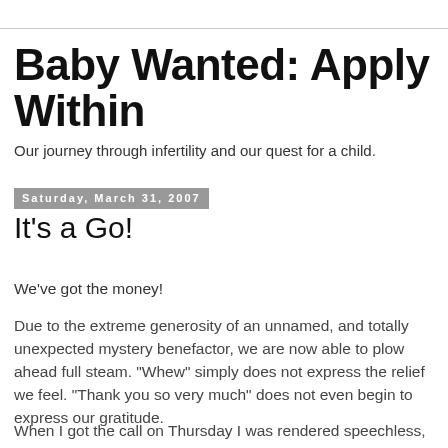Baby Wanted: Apply Within
Our journey through infertility and our quest for a child.
Saturday, March 31, 2007
It's a Go!
We've got the money!
Due to the extreme generosity of an unnamed, and totally unexpected mystery benefactor, we are now able to plow ahead full steam. "Whew" simply does not express the relief we feel. "Thank you so very much" does not even begin to express our gratitude.
When I got the call on Thursday I was rendered speechless,